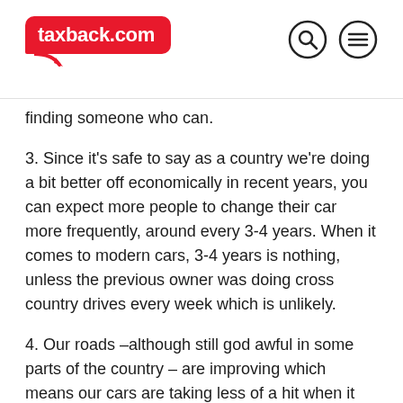taxback.com
finding someone who can.
3. Since it's safe to say as a country we're doing a bit better off economically in recent years, you can expect more people to change their car more frequently, around every 3-4 years. When it comes to modern cars, 3-4 years is nothing, unless the previous owner was doing cross country drives every week which is unlikely.
4. Our roads –although still god awful in some parts of the country – are improving which means our cars are taking less of a hit when it comes to tyres, steering, exhausts and so on.
5. If the car is 4+ years old, you can bet that the driver has been careful with the NCT in mind. If you're buying a